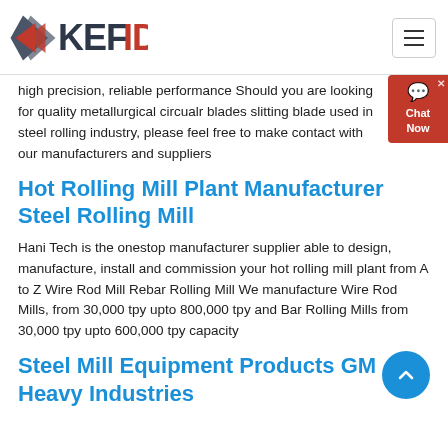KEFID
high precision, reliable performance Should you are looking for quality metallurgical circualr blades slitting blade used in steel rolling industry, please feel free to make contact with our manufacturers and suppliers
Hot Rolling Mill Plant Manufacturer Steel Rolling Mill
Hani Tech is the onestop manufacturer supplier able to design, manufacture, install and commission your hot rolling mill plant from A to Z Wire Rod Mill Rebar Rolling Mill We manufacture Wire Rod Mills, from 30,000 tpy upto 800,000 tpy and Bar Rolling Mills from 30,000 tpy upto 600,000 tpy capacity
Steel Mill Equipment Products GM Heavy Industries